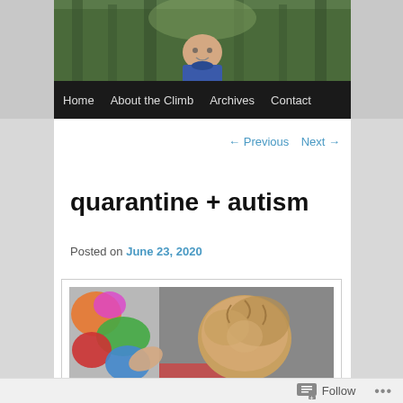[Figure (photo): Header photo of a child outdoors in a wooded setting, wearing a blue jacket, partial view from shoulders up]
Home   About the Climb   Archives   Contact
← Previous   Next →
quarantine + autism
Posted on June 23, 2020
[Figure (photo): Child viewed from above playing with colorful foam or puzzle pieces on a gray surface, showing the top of their blonde head and hands]
Follow   ...